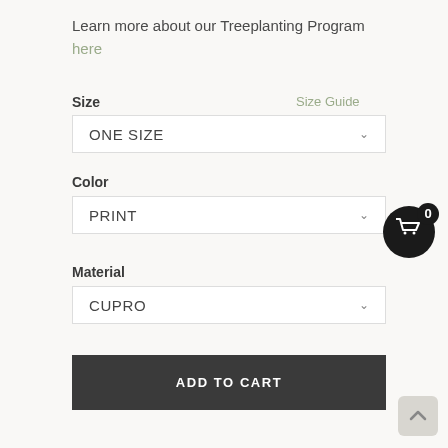Learn more about our Treeplanting Program here
Size
Size Guide
ONE SIZE
Color
PRINT
[Figure (illustration): Shopping cart icon in a black circle with badge showing 0]
Material
CUPRO
ADD TO CART
[Figure (illustration): Scroll-to-top button with upward arrow]